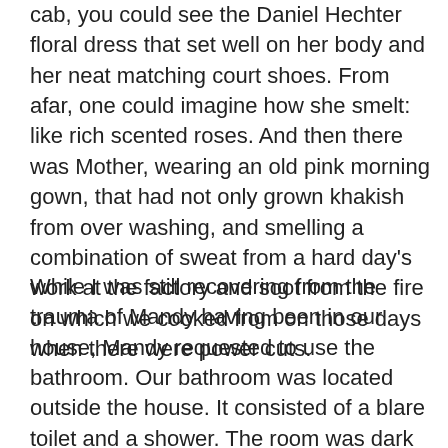cab, you could see the Daniel Hechter floral dress that set well on her body and her neat matching court shoes. From afar, one could imagine how she smelt: like rich scented roses. And then there was Mother, wearing an old pink morning gown, that had not only grown khakish from over washing, and smelling a combination of sweat from a hard day's work at the factory and soot from the fire on which we cooked from on those days when there were power cuts.
While I was still recovering from the trauma of Mandy having been in our house, Mandy requested to use the bathroom. Our bathroom was located outside the house. It consisted of a blare toilet and a shower. The room was dark as we hardly replaced the bulb and it maintained its stench no